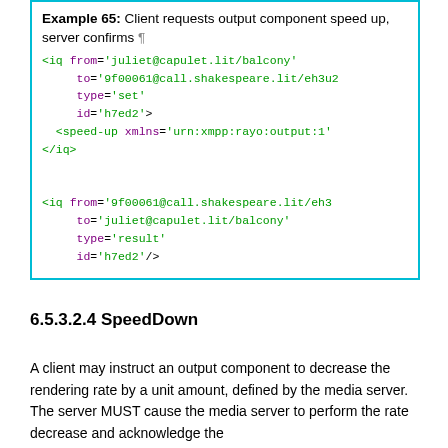Example 65: Client requests output component speed up, server confirms ¶
[Figure (screenshot): Code example showing XML IQ stanzas: client sends speed-up request from juliet@capulet.lit/balcony to 9f00061@call.shakespeare.lit/eh3u2, type='set', id='h7ed2', with <speed-up> element; server responds from 9f00061@call.shakespeare.lit/eh3 to juliet@capulet.lit/balcony, type='result', id='h7ed2'/>]
6.5.3.2.4 SpeedDown
A client may instruct an output component to decrease the rendering rate by a unit amount, defined by the media server. The server MUST cause the media server to perform the rate decrease and acknowledge the